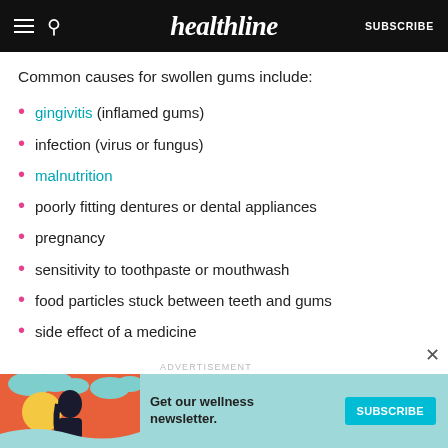healthline
Common causes for swollen gums include:
gingivitis (inflamed gums)
infection (virus or fungus)
malnutrition
poorly fitting dentures or dental appliances
pregnancy
sensitivity to toothpaste or mouthwash
food particles stuck between teeth and gums
side effect of a medicine
[Figure (infographic): Advertisement banner for Healthline wellness newsletter with teal background, illustrated woman, and SUBSCRIBE button]